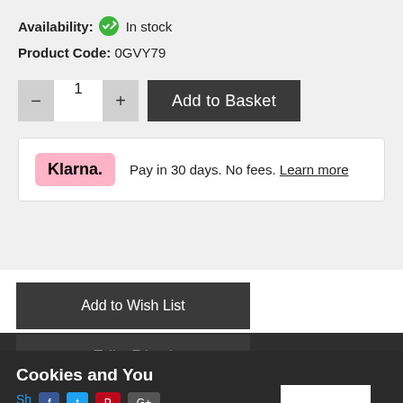Availability: ✓ In stock
Product Code: 0GVY79
[Figure (screenshot): Quantity selector with minus button, 1, and plus button, alongside Add to Basket dark button]
[Figure (screenshot): Klarna payment option box: pink Klarna logo, text 'Pay in 30 days. No fees. Learn more']
Add to Wish List
Tell a Friend
Cookies and You
We use cookies on this website. You are free to manage these via your browser settings at any time. For more about how we use cookies, please see our Privacy Policy.
GOT IT!